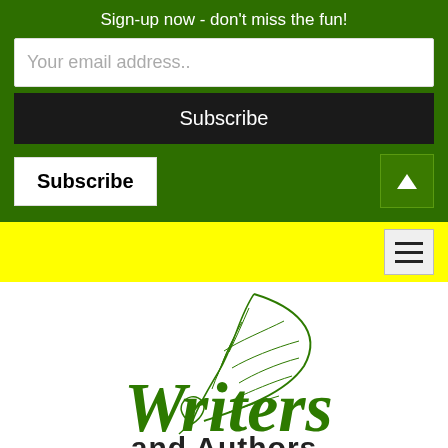Sign-up now - don't miss the fun!
Your email address..
Subscribe
Subscribe
[Figure (logo): Writers and Authors logo with green quill feather pen illustration and cursive 'Writers' text with 'and Authors' in bold below]
Author Interview Services